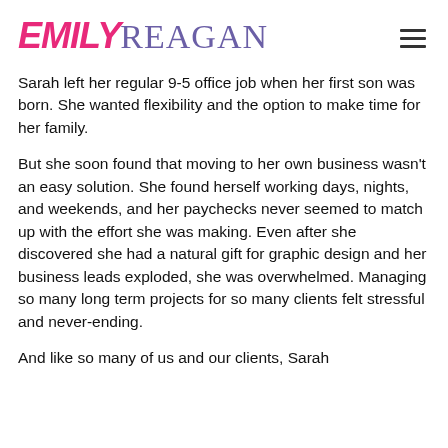EMILY REAGAN
Sarah left her regular 9-5 office job when her first son was born. She wanted flexibility and the option to make time for her family.
But she soon found that moving to her own business wasn't an easy solution. She found herself working days, nights, and weekends, and her paychecks never seemed to match up with the effort she was making. Even after she discovered she had a natural gift for graphic design and her business leads exploded, she was overwhelmed. Managing so many long term projects for so many clients felt stressful and never-ending.
And like so many of us and our clients, Sarah